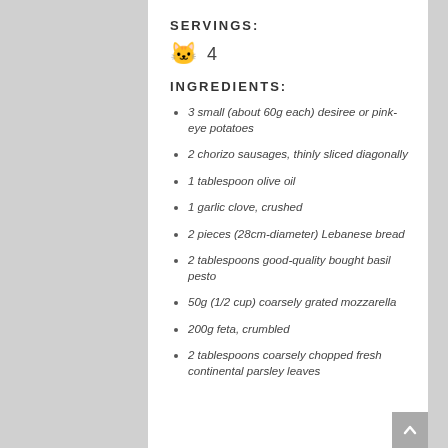SERVINGS:
🐱 4
INGREDIENTS:
3 small (about 60g each) desiree or pink-eye potatoes
2 chorizo sausages, thinly sliced diagonally
1 tablespoon olive oil
1 garlic clove, crushed
2 pieces (28cm-diameter) Lebanese bread
2 tablespoons good-quality bought basil pesto
50g (1/2 cup) coarsely grated mozzarella
200g feta, crumbled
2 tablespoons coarsely chopped fresh continental parsley leaves